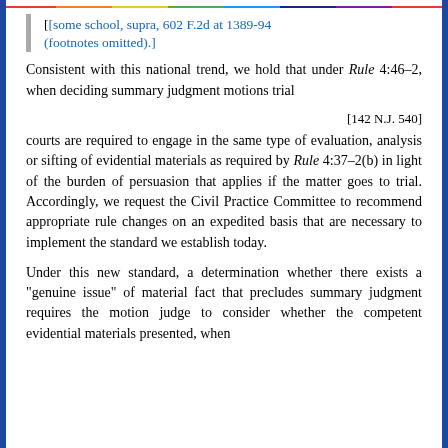[some school, supra, 602 F.2d at 1389-94 (footnotes omitted).]
Consistent with this national trend, we hold that under Rule 4:46-2, when deciding summary judgment motions trial
[142 N.J. 540]
courts are required to engage in the same type of evaluation, analysis or sifting of evidential materials as required by Rule 4:37-2(b) in light of the burden of persuasion that applies if the matter goes to trial. Accordingly, we request the Civil Practice Committee to recommend appropriate rule changes on an expedited basis that are necessary to implement the standard we establish today.
Under this new standard, a determination whether there exists a "genuine issue" of material fact that precludes summary judgment requires the motion judge to consider whether the competent evidential materials presented, when